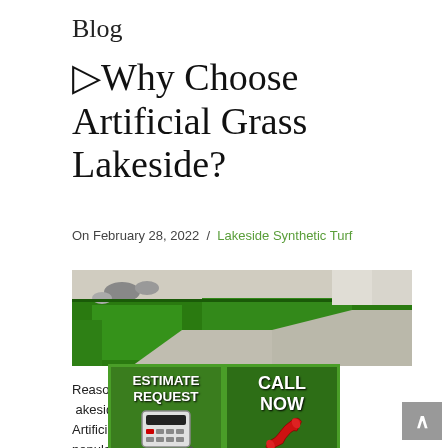Blog
▷Why Choose Artificial Grass Lakeside?
On February 28, 2022  /  Lakeside Synthetic Turf
[Figure (photo): Photo of a yard or landscape with bright green artificial grass installed next to concrete pathways and rocks.]
[Figure (infographic): Two overlapping CTA buttons: left button reads ESTIMATE REQUEST with a calculator icon on a green grass background; right button reads CALL NOW with a red telephone icon on a green grass background.]
Reasons to choose Lakeside Artificial Grass... increasingly popular... businesses alike. A... on for